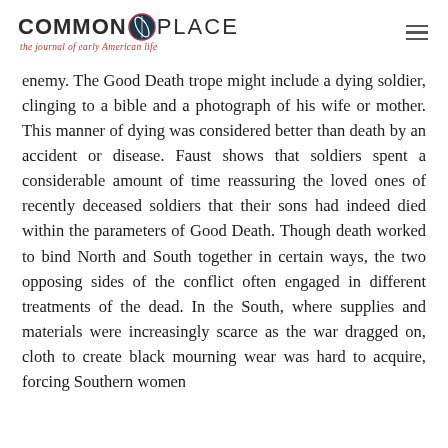COMMONPLACE — the journal of early American life
enemy. The Good Death trope might include a dying soldier, clinging to a bible and a photograph of his wife or mother. This manner of dying was considered better than death by an accident or disease. Faust shows that soldiers spent a considerable amount of time reassuring the loved ones of recently deceased soldiers that their sons had indeed died within the parameters of Good Death. Though death worked to bind North and South together in certain ways, the two opposing sides of the conflict often engaged in different treatments of the dead. In the South, where supplies and materials were increasingly scarce as the war dragged on, cloth to create black mourning wear was hard to acquire, forcing Southern women